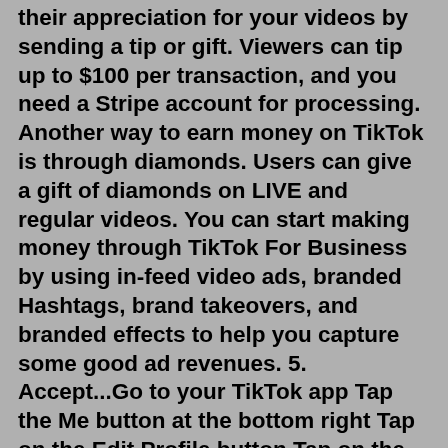their appreciation for your videos by sending a tip or gift. Viewers can tip up to $100 per transaction, and you need a Stripe account for processing. Another way to earn money on TikTok is through diamonds. Users can give a gift of diamonds on LIVE and regular videos. You can start making money through TikTok For Business by using in-feed video ads, branded Hashtags, brand takeovers, and branded effects to help you capture some good ad revenues. 5. Accept...Go to your TikTok app Tap the Me button at the bottom right Tap on the Edit Profile button Tap on the Website option Paste your EZBiolink biolink link in the Website field Summary This is how you can make money on TikTok promoting Clickbank affiliate offers the right way, using an intermediate landing page.10 Ways to Make Money On TikTok Here are 10 different TikTok monetization strategies. 1. Get Paid Directly By TikTok The most direct way to earn money through TikTok is to take advantage of the platform's Creator Fund, which is part of the Creator Next umbrella of monetization tools. How to